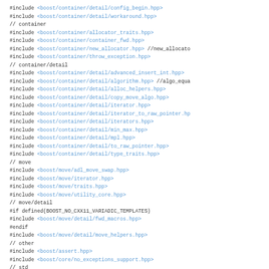#include <boost/container/detail/config_begin.hpp>
#include <boost/container/detail/workaround.hpp>
// container
#include <boost/container/allocator_traits.hpp>
#include <boost/container/container_fwd.hpp>
#include <boost/container/new_allocator.hpp> //new_allocator
#include <boost/container/throw_exception.hpp>
// container/detail
#include <boost/container/detail/advanced_insert_int.hpp>
#include <boost/container/detail/algorithm.hpp> //algo_equal...
#include <boost/container/detail/alloc_helpers.hpp>
#include <boost/container/detail/copy_move_algo.hpp>
#include <boost/container/detail/iterator.hpp>
#include <boost/container/detail/iterator_to_raw_pointer.hpp>
#include <boost/container/detail/iterators.hpp>
#include <boost/container/detail/min_max.hpp>
#include <boost/container/detail/mpl.hpp>
#include <boost/container/detail/to_raw_pointer.hpp>
#include <boost/container/detail/type_traits.hpp>
// move
#include <boost/move/adl_move_swap.hpp>
#include <boost/move/iterator.hpp>
#include <boost/move/traits.hpp>
#include <boost/move/utility_core.hpp>
// move/detail
#if defined(BOOST_NO_CXX11_VARIADIC_TEMPLATES)
#include <boost/move/detail/fwd_macros.hpp>
#endif
#include <boost/move/detail/move_helpers.hpp>
// other
#include <boost/assert.hpp>
#include <boost/core/no_exceptions_support.hpp>
// std
#include <cstddef>

#if !defined(BOOST_NO_CXX11_HDR_INITIALIZER_LIST)
#include <initializer_list>